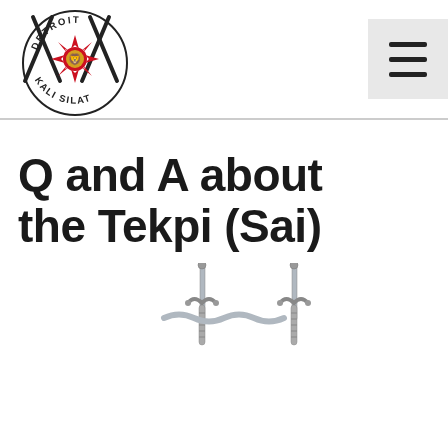[Figure (logo): Detroit Kali Silat circular logo with crossed sticks and sun/eagle emblem]
[Figure (other): Hamburger menu icon (three horizontal lines) in a light grey square button]
Q and A about the Tekpi (Sai)
[Figure (photo): Photo of two Tekpi (Sai) weapons crossed, metallic/silver color, partially cropped at bottom of page]